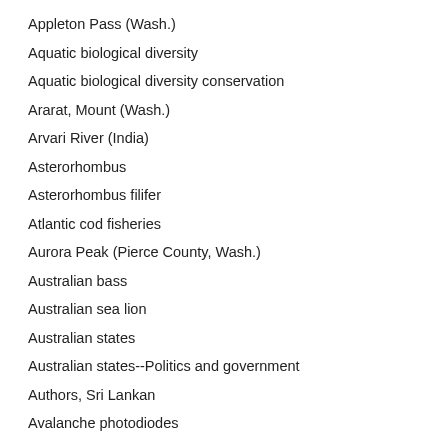Appleton Pass (Wash.)
Aquatic biological diversity
Aquatic biological diversity conservation
Ararat, Mount (Wash.)
Arvari River (India)
Asterorhombus
Asterorhombus filifer
Atlantic cod fisheries
Aurora Peak (Pierce County, Wash.)
Australian bass
Australian sea lion
Australian states
Australian states--Politics and government
Authors, Sri Lankan
Avalanche photodiodes